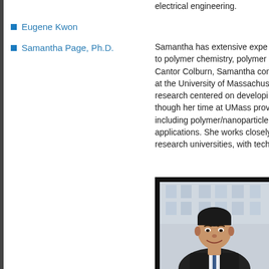Eugene Kwon
Samantha Page, Ph.D.
electrical engineering.
Samantha has extensive expe... to polymer chemistry, polymer... Cantor Colburn, Samantha con... at the University of Massachus... research centered on developi... though her time at UMass prov... including polymer/nanoparticle... applications. She works closely... research universities, with tech...
[Figure (photo): Professional headshot of a smiling young Asian man in a dark suit and tie, photographed outdoors in front of a building.]